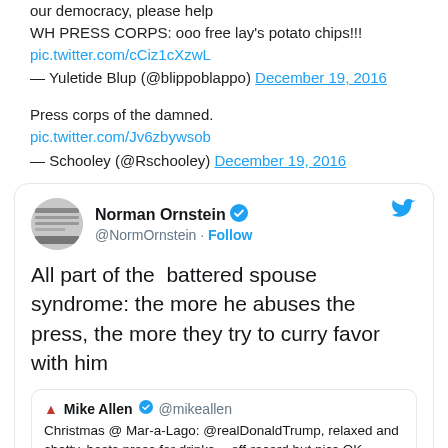our democracy, please help
WH PRESS CORPS: ooo free lay's potato chips!!! pic.twitter.com/cCiz1cXzwL
— Yuletide Blup (@blippoblappo) December 19, 2016
Press corps of the damned.
pic.twitter.com/Jv6zbywsob
— Schooley (@Rschooley) December 19, 2016
[Figure (screenshot): Embedded tweet from Norman Ornstein (@NormOrnstein) with verified badge and Follow button. Tweet reads: 'All part of the battered spouse syndrome: the more he abuses the press, the more they try to curry favor with him'. Contains a quoted tweet from Mike Allen (@mikeallen): 'Christmas @ Mar-a-Lago: @realDonaldTrump, relaxed and chatty, hosts press for drinks -- off-record but pics OK']